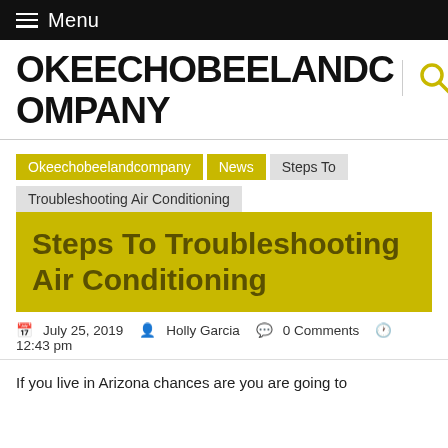Menu
OKEECHOBEELANDCOMPANY
Okeechobeelandcompany › News › Steps To Troubleshooting Air Conditioning
Steps To Troubleshooting Air Conditioning
July 25, 2019  Holly Garcia  0 Comments  12:43 pm
If you live in Arizona chances are you are going to